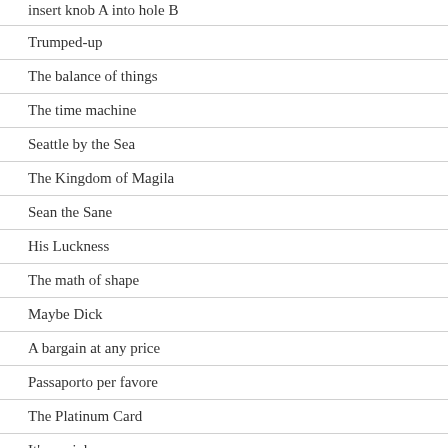insert knob A into hole B
Trumped-up
The balance of things
The time machine
Seattle by the Sea
The Kingdom of Magila
Sean the Sane
His Luckness
The math of shape
Maybe Dick
A bargain at any price
Passaporto per favore
The Platinum Card
It's my job
Dog